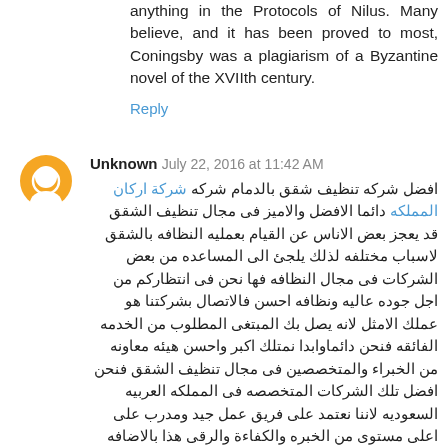anything in the Protocols of Nilus. Many believe, and it has been proved to most, Coningsby was a plagiarism of a Byzantine novel of the XVIIth century.
Reply
Unknown  July 22, 2016 at 11:42 AM
افضل شركه تنظيف شقق بالدمام شركه شركة اركان المملكه دائما الافضل والاميز فى مجال تنظيف الشقق قد يعجز بعض الاناس عن القيام بعمليه النظافه بالشقق لاسباب مختلفه لذلك يلجئ الى المساعده من بعض الشركات فى مجال النظافه فها نحن فى انتظاركم من اجل جوده عاليه ونظافه احسن فالاتصال بشركتنا هو عملك الامثل لانه يصل بك المبتغى المطلوب من الخدمه الفائقه فنحن دائماوابدا نمتلك اكبر واحسن هيئه معاونه من الخبراء والمتخصصين فى مجال تنظيف الشقق فنحن افضل تلك الشركات المتخصصه فى المملكه العربيه السعوديه لاننا نعتمد على فريق عمل جيد ومدرب على اعلى مستوى من الخبره والكفاءة والرقى هذا بالاضافه الى خدمه تسليك المجارى بمدينه الدمام تسليك مجارى بالدمام كما لديه الاخلاص والامانه فى العمل فنحن نعتمد على افضل الطرق والاساليب الحديثه والمتميزه للنظافه والرقى ونستخدم ادوات ومعدات على مستوى عالى من الخبره والثقه